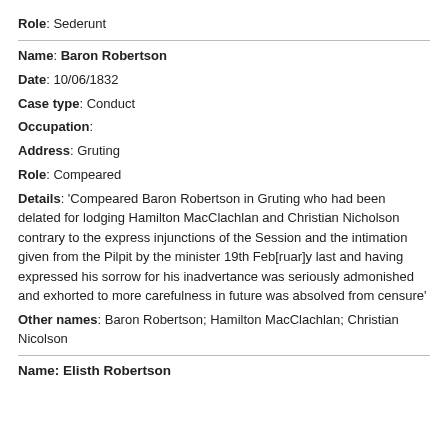Role: Sederunt
Name: Baron Robertson
Date: 10/06/1832
Case type: Conduct
Occupation:
Address: Gruting
Role: Compeared
Details: 'Compeared Baron Robertson in Gruting who had been delated for lodging Hamilton MacClachlan and Christian Nicholson contrary to the express injunctions of the Session and the intimation given from the Pilpit by the minister 19th Feb[ruar]y last and having expressed his sorrow for his inadvertance was seriously admonished and exhorted to more carefulness in future was absolved from censure'
Other names: Baron Robertson; Hamilton MacClachlan; Christian Nicolson
Name: Elisth Robertson